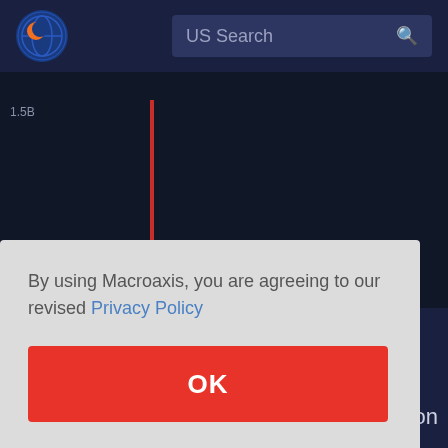[Figure (screenshot): Macroaxis website screenshot showing logo and US Search bar in dark navy navigation header]
[Figure (line-chart): Financial line chart on dark background showing two lines (red and blue) with data points around 2019-2021 period, y-axis showing 1.5B and 400M labels, x-axis showing 2015 and 2020]
Total Assets, total: 47.6B
By using Macroaxis, you are agreeing to our revised Privacy Policy
OK
tion